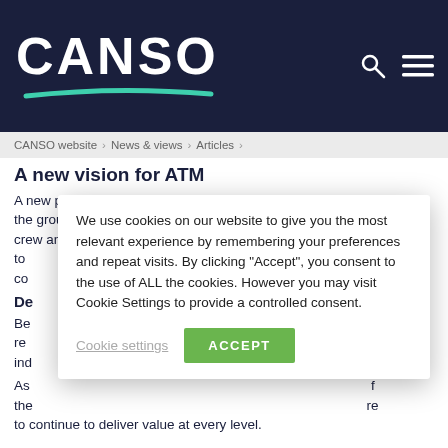CANSO
CANSO website > News & views > Articles >
A new vision for ATM
A new partner that's optimising traffic flows to minimise congestion on the ground and in the air, enhancing communications between air crew and controllers, or embracing digitalisation, automation and AI to continue to deliver value at every level.
De...
Be... n ind...
As... f the... re to continue to deliver value at every level.
We use cookies on our website to give you the most relevant experience by remembering your preferences and repeat visits. By clicking "Accept", you consent to the use of ALL the cookies. However you may visit Cookie Settings to provide a controlled consent.